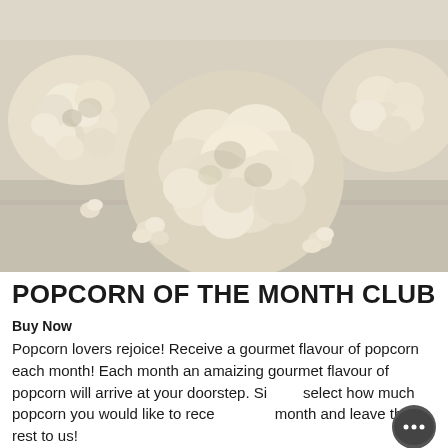[Figure (photo): Photograph of several popcorn balls arranged on a light surface, with loose popcorn kernels scattered around. The popcorn balls are white/cream colored and clustered together.]
POPCORN OF THE MONTH CLUB
Buy Now
Popcorn lovers rejoice! Receive a gourmet flavour of popcorn each month! Each month an amaizing gourmet flavour of popcorn will arrive at your doorstep. Simply select how much popcorn you would like to receive each month and leave the rest to us!